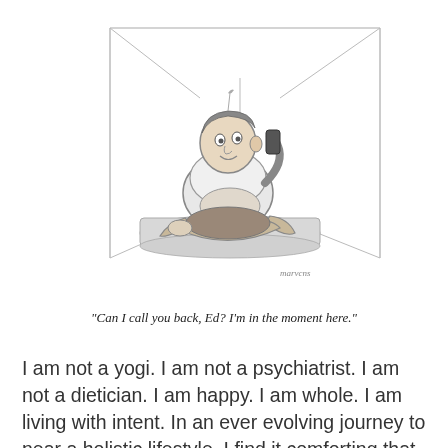[Figure (illustration): New Yorker-style cartoon: A heavyset man in a t-shirt sits cross-legged on a mat on the floor in a corner room, talking on a phone held to his ear with a surprised/distracted expression. Artist signature 'marvcns' or similar appears at the bottom right of the cartoon.]
"Can I call you back, Ed? I'm in the moment here."
I am not a yogi. I am not a psychiatrist. I am not a dietician. I am happy. I am whole. I am living with intent. In an ever evolving journey to near a holistic lifestyle, I find it comforting that little things make a big impact on how I feel. Brussels sprouts make me feel satisfied.